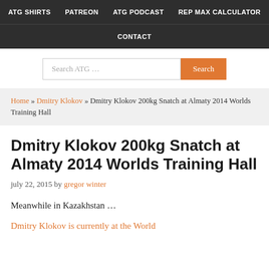ATG SHIRTS   PATREON   ATG PODCAST   REP MAX CALCULATOR   CONTACT
Search ATG …
Home » Dmitry Klokov » Dmitry Klokov 200kg Snatch at Almaty 2014 Worlds Training Hall
Dmitry Klokov 200kg Snatch at Almaty 2014 Worlds Training Hall
july 22, 2015 by gregor winter
Meanwhile in Kazakhstan …
Dmitry Klokov is currently at the World